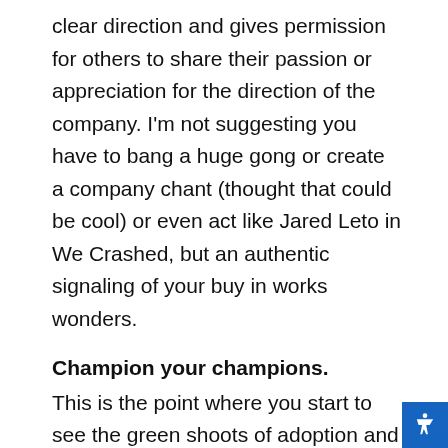clear direction and gives permission for others to share their passion or appreciation for the direction of the company. I'm not suggesting you have to bang a huge gong or create a company chant (thought that could be cool) or even act like Jared Leto in We Crashed, but an authentic signaling of your buy in works wonders.
Champion your champions.
This is the point where you start to see the green shoots of adoption and behavior change, this is probably the most crucial moment, the moment when you start to see others behaving in the way you want them to. This is the moment to bring attention to these observed behaviors and praise